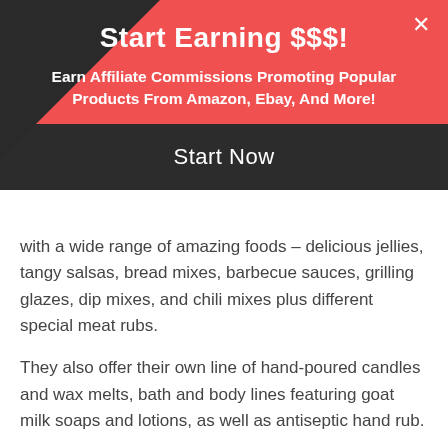Start Earning $$$!
Earn Affiliate Commissions Promoting Popular Products From Amazon, Ebay, And More!
Start Now
with a wide range of amazing foods – delicious jellies, tangy salsas, bread mixes, barbecue sauces, grilling glazes, dip mixes, and chili mixes plus different special meat rubs.
They also offer their own line of hand-poured candles and wax melts, bath and body lines featuring goat milk soaps and lotions, as well as antiseptic hand rub.
Fredericksburg Farms' affiliate program is being administered by ShareASale.